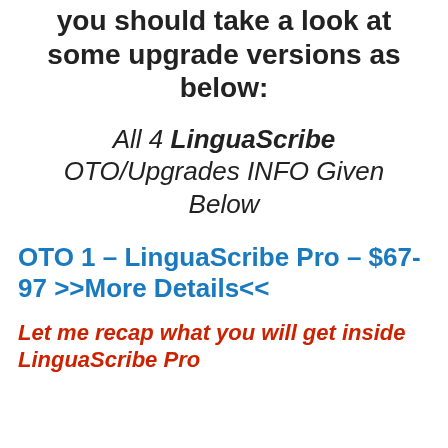you should take a look at some upgrade versions as below:
All 4 LinguaScribe OTO/Upgrades INFO Given Below
OTO 1 – LinguaScribe Pro – $67-97 >>More Details<<
Let me recap what you will get inside LinguaScribe Pro